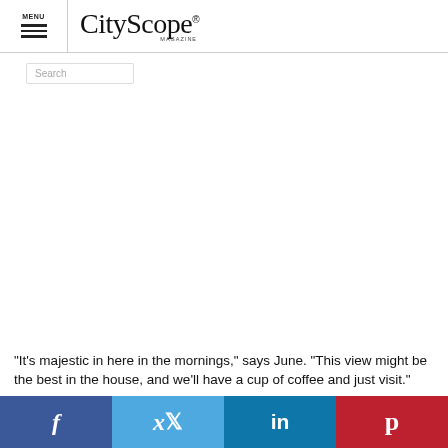MENU | CityScope® MAGAZINE
Search
"It's majestic in here in the mornings," says June. "This view might be the best in the house, and we'll have a cup of coffee and just visit."
f | Twitter | in | Pinterest